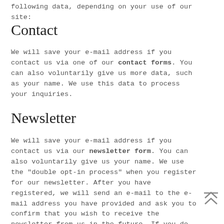following data, depending on your use of our site:
Contact
We will save your e-mail address if you contact us via one of our contact forms. You can also voluntarily give us more data, such as your name. We use this data to process your inquiries.
Newsletter
We will save your e-mail address if you contact us via our newsletter form. You can also voluntarily give us your name. We use the "double opt-in process" when you register for our newsletter. After you have registered, we will send an e-mail to the e-mail address you have provided and ask you to confirm that you wish to receive the newsletter from us in the future. If you do not confirm your registration within 24 hours, the data you provided will be automatically deleted. We also store your IP address and the time of registration for the newsletter as well as the time of confirmation in order to prove your registration